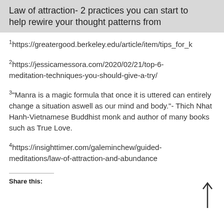Law of attraction- 2 practices you can start to help rewire your thought patterns from
1https://greatergood.berkeley.edu/article/item/tips_for_k
2https://jessicamessora.com/2020/02/21/top-6-meditation-techniques-you-should-give-a-try/
3"Manra is a magic formula that once it is uttered can entirely change a situation aswell as our mind and body."- Thich Nhat Hanh-Vietnamese Buddhist monk and author of many books such as True Love.
4https://insighttimer.com/galeminchew/guided-meditations/law-of-attraction-and-abundance
Share this: